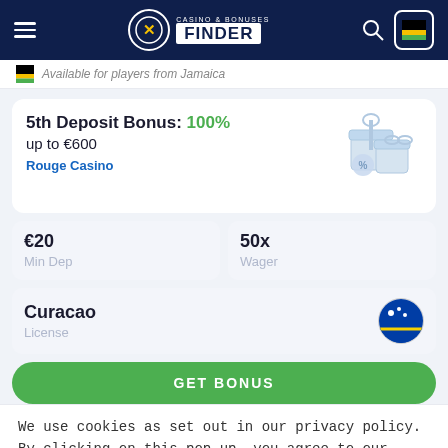Casino & Bonuses Finder
Available for players from Jamaica
5th Deposit Bonus: 100% up to €600
Rouge Casino
€20 Min Dep
50x Wager
Curacao License
GET BONUS
We use cookies as set out in our privacy policy. By clicking on this pop up, you agree to our policies.
Read the privacy policy
It's OK For Me